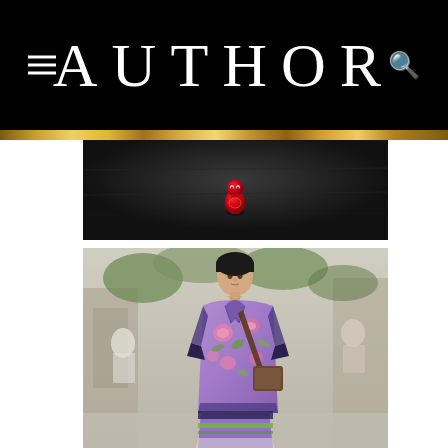AUTHOR
[Figure (photo): Close-up photo of a dark wooden surface with a small red figurine/toy placed on it]
[Figure (photo): Fashion runway photo of a young male model wearing a purple floral short-sleeve shirt with pink roses and green leaves, matching shorts, a brown crossbody bag, against an outdoor architectural background with other people visible]